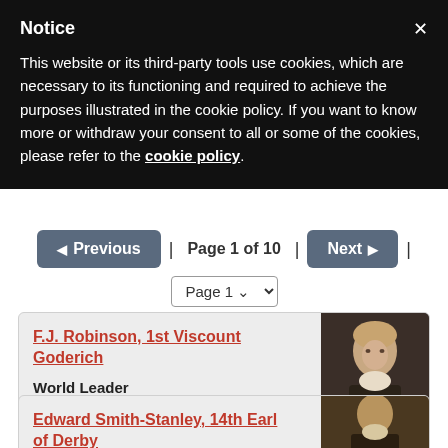Notice
This website or its third-party tools use cookies, which are necessary to its functioning and required to achieve the purposes illustrated in the cookie policy. If you want to know more or withdraw your consent to all or some of the cookies, please refer to the cookie policy.
◀ Previous | Page 1 of 10 | Next ▶
Page 1
F.J. Robinson, 1st Viscount Goderich
World Leader
0% (0 of 0 votes)
Edward Smith-Stanley, 14th Earl of Derby